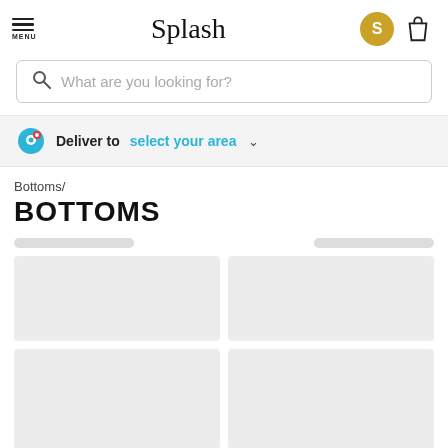[Figure (screenshot): Navigation header with hamburger menu icon labeled MENU, Splash logo in center, gold avatar circle with S and bag icon on right]
[Figure (screenshot): Search bar with magnifying glass icon and placeholder text 'What are you looking for?']
Deliver to  select your area
Bottoms/
BOTTOMS
[Figure (screenshot): Loading skeleton placeholders for product grid — two rows of two gray rectangle cards]